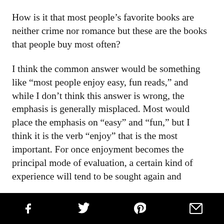How is it that most people’s favorite books are neither crime nor romance but these are the books that people buy most often?
I think the common answer would be something like “most people enjoy easy, fun reads,” and while I don’t think this answer is wrong, the emphasis is generally misplaced. Most would place the emphasis on “easy” and “fun,” but I think it is the verb “enjoy” that is the most important. For once enjoyment becomes the principal mode of evaluation, a certain kind of experience will tend to be sought again and
social share icons: Facebook, Twitter, Pinterest, Email